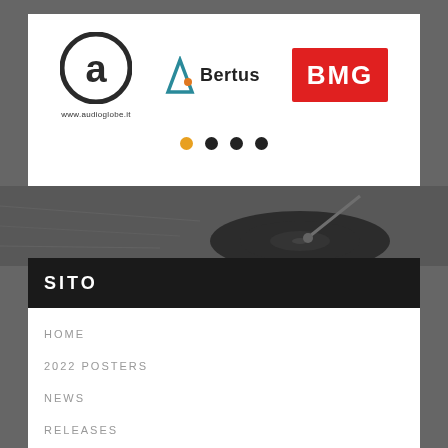[Figure (logo): Audioglobe circular logo with stylized 'a' letter and URL www.audioglobe.it below]
[Figure (logo): Bertus logo with triangular geometric icon and 'Bertus' text in bold]
[Figure (logo): BMG logo white text on red rectangle background]
[Figure (infographic): Four navigation dots: first dot is orange/yellow (active), remaining three are black]
[Figure (photo): Black and white photo of vinyl record player/turntable]
SITO
HOME
2022 POSTERS
NEWS
RELEASES